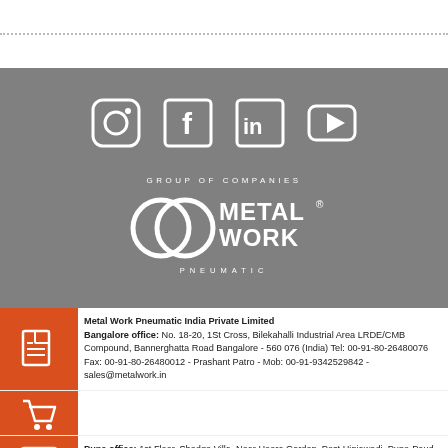[Figure (illustration): Social media icons: Instagram, Facebook, LinkedIn, YouTube — white icons on gray background]
[Figure (logo): Metal Work Pneumatic Group of Companies logo — white on gray background]
Metal Work Pneumatic India Private Limited
Bangalore office: No. 18-20, 1St Cross, Bilekahalli Industrial Area LRDE/CMB Compound, Bannerghatta Road Bangalore - 560 076 (India) Tel: 00-91-80-26480076 Fax: 00-91-80-26480012 - Prashant Patro - Mob: 00-91-9342529842 - sales@metalwork.in
Pune office: 1st Floor, Shedge Villa, Near Heera Garden, Post Hinjawadi, Pune-Paud Road, Tal. Mulshi, District. Pune - 412 115